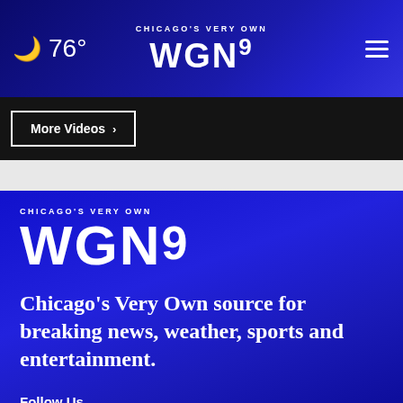76° CHICAGO'S VERY OWN WGN9
More Videos ›
[Figure (logo): WGN9 Chicago's Very Own logo in white on blue background]
Chicago's Very Own source for breaking news, weather, sports and entertainment.
Follow Us